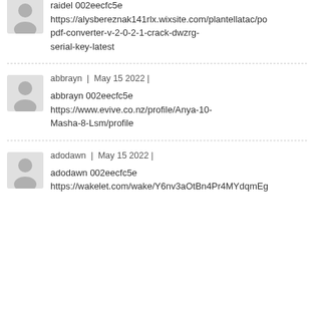[Figure (illustration): Grey placeholder avatar icon for user raidel (partially visible at top)]
raidel 002eecfc5e
https://alysbereznak141rlx.wixsite.com/plantellatac/po
pdf-converter-v-2-0-2-1-crack-dwzrg-
serial-key-latest
[Figure (illustration): Grey placeholder avatar icon for user abbrayn]
abbrayn | May 15 2022 |
abbrayn 002eecfc5e
https://www.evive.co.nz/profile/Anya-10-Masha-8-Lsm/profile
[Figure (illustration): Grey placeholder avatar icon for user adodawn]
adodawn | May 15 2022 |
adodawn 002eecfc5e
https://wakelet.com/wake/Y6nv3aOtBn4Pr4MYdqmEg